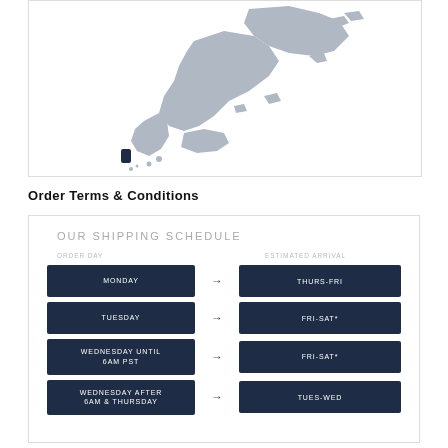[Figure (map): Map of Japan with a region highlighted in dark navy blue, rest in light grey]
Order Terms & Conditions
[Figure (infographic): Shipping schedule table showing order day to estimated arrival mappings: Monday -> Thurs-Fri, Tuesday -> Fri-Sat*, Wednesday until 6AM PST -> Fri-Sat*, Wednesday after 6AM & Thursday -> Tues-Wed]